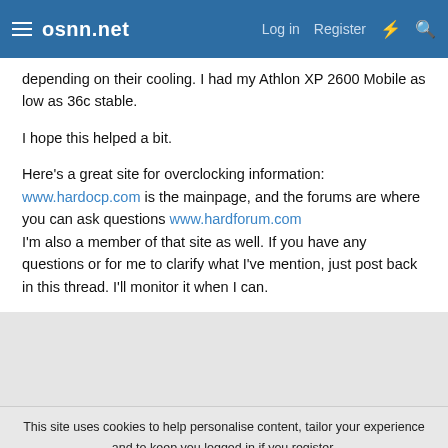osnn.net  Log in  Register
depending on their cooling. I had my Athlon XP 2600 Mobile as low as 36c stable.

I hope this helped a bit.

Here's a great site for overclocking information:
www.hardocp.com is the mainpage, and the forums are where you can ask questions www.hardforum.com
I'm also a member of that site as well. If you have any questions or for me to clarify what I've mention, just post back in this thread. I'll monitor it when I can.
This site uses cookies to help personalise content, tailor your experience and to keep you logged in if you register.
By continuing to use this site, you are consenting to our use of cookies.